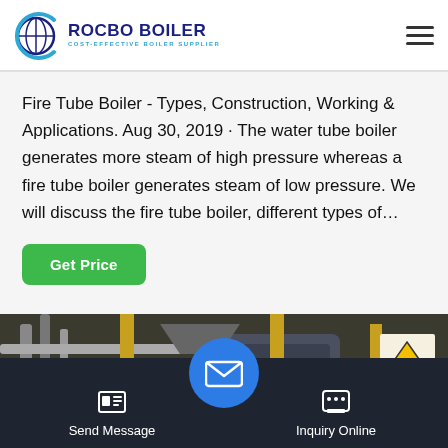ROCBO BOILER - COST-EFFECTIVE BOILER SUPPLIER
Fire Tube Boiler - Types, Construction, Working & Applications. Aug 30, 2019 · The water tube boiler generates more steam of high pressure whereas a fire tube boiler generates steam of low pressure. We will discuss the fire tube boiler, different types of…
[Figure (photo): Industrial boiler room with pipes, yellow support columns, and warning signs]
Send Message | Inquiry Online